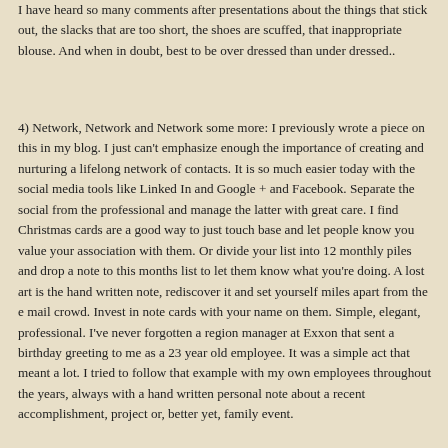I have heard so many comments after presentations about the things that stick out, the slacks that are too short, the shoes are scuffed, that inappropriate blouse.  And when in doubt, best to be over dressed than under dressed..
4) Network, Network and Network some more:  I previously wrote a piece on this in my blog.  I just can't emphasize enough the importance of creating and nurturing a lifelong network of contacts.  It is so much easier today with the social media tools like Linked In and Google + and Facebook.  Separate the social from the professional and manage the latter with great care.  I find Christmas cards are a good way to just touch base and let people know you value your association with them.  Or divide your list into 12 monthly piles and drop a note to this months list to let them know what you're doing.  A lost art is the hand written note, rediscover it and set yourself miles apart from the e mail crowd.  Invest in note cards with your name on them.  Simple, elegant, professional.  I've never forgotten a region manager at Exxon that sent a birthday greeting to me as a 23 year old employee.  It was a simple act that meant a lot.  I tried to follow that example with my own employees throughout the years, always with a hand written personal note about a recent accomplishment, project or, better yet,  family event.